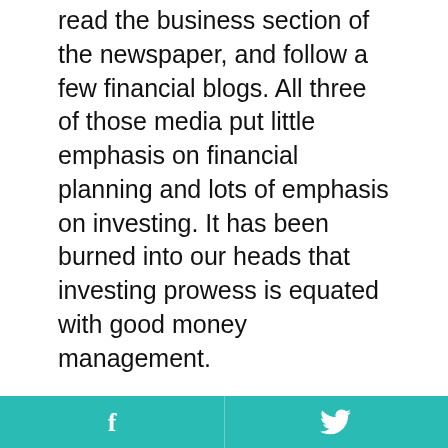read the business section of the newspaper, and follow a few financial blogs. All three of those media put little emphasis on financial planning and lots of emphasis on investing. It has been burned into our heads that investing prowess is equated with good money management.
I call bullshit."
Image courtesy of Bogdan Pavlik.
Comments
0 Comments
Add a comment...